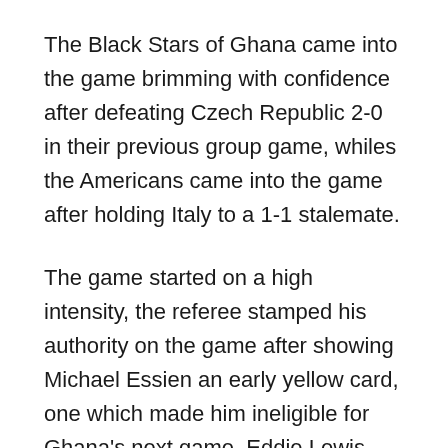The Black Stars of Ghana came into the game brimming with confidence after defeating Czech Republic 2-0 in their previous group game, whiles the Americans came into the game after holding Italy to a 1-1 stalemate.
The game started on a high intensity, the referee stamped his authority on the game after showing Michael Essien an early yellow card, one which made him ineligible for Ghana's next game. Eddie Lewis also needed an early treatment for an eyebrow cut, which was caused by John Mensah's stray elbow.
Ghana took the lead in the 22nd minute through